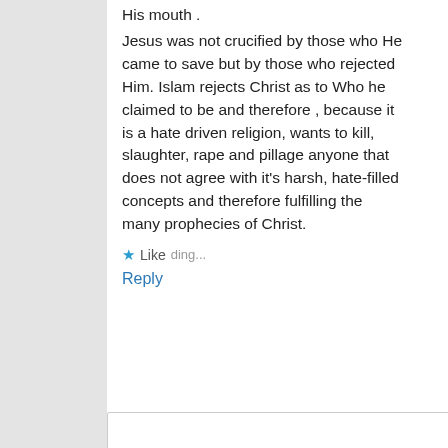His mouth .
Jesus was not crucified by those who He came to save but by those who rejected Him. Islam rejects Christ as to Who he claimed to be and therefore , because it is a hate driven religion, wants to kill, slaughter, rape and pillage anyone that does not agree with it's harsh, hate-filled concepts and therefore fulfilling the many prophecies of Christ.
★ Like Loading...
Reply